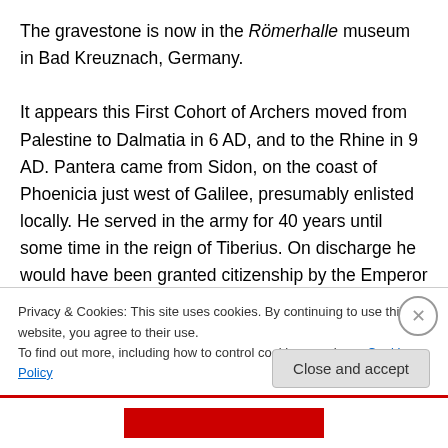The gravestone is now in the Römerhalle museum in Bad Kreuznach, Germany.

It appears this First Cohort of Archers moved from Palestine to Dalmatia in 6 AD, and to the Rhine in 9 AD. Pantera came from Sidon, on the coast of Phoenicia just west of Galilee, presumably enlisted locally. He served in the army for 40 years until some time in the reign of Tiberius. On discharge he would have been granted citizenship by the Emperor (and been granted freedom if he had formerly been a slave), and added the Emperor's
Privacy & Cookies: This site uses cookies. By continuing to use this website, you agree to their use.
To find out more, including how to control cookies, see here: Cookie Policy